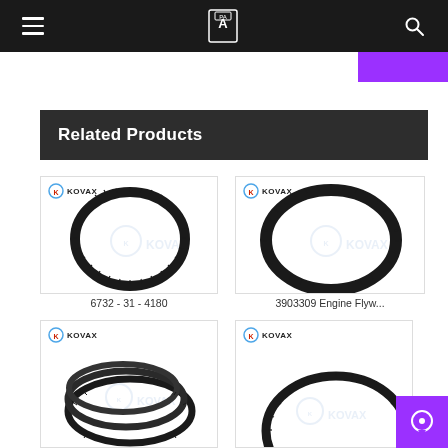Navigation bar with hamburger menu, logo, and search icon
Related Products
[Figure (photo): KOVAX branded ring gear / timing belt ring - circular toothed ring on white background with KOVAX watermark]
6732 - 31 - 4180
[Figure (photo): KOVAX branded engine flywheel ring gear - larger circular toothed ring on white background with KOVAX watermark]
3903309 Engine Flyw...
[Figure (photo): KOVAX branded multiple ring gears / drive belts - overlapping oval rings on white background with KOVAX watermark]
[Figure (photo): KOVAX branded ring gear partial view - circular toothed ring on white background with KOVAX watermark]